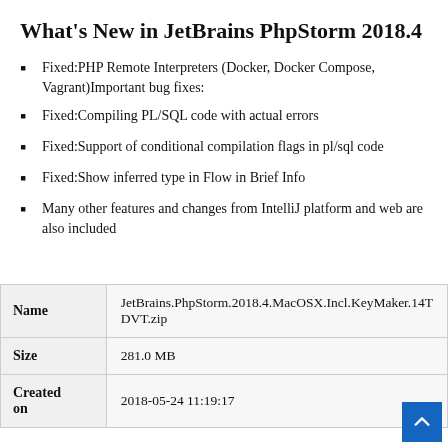What’s New in JetBrains PhpStorm 2018.4
Fixed:PHP Remote Interpreters (Docker, Docker Compose, Vagrant)Important bug fixes:
Fixed:Compiling PL/SQL code with actual errors
Fixed:Support of conditional compilation flags in pl/sql code
Fixed:Show inferred type in Flow in Brief Info
Many other features and changes from IntelliJ platform and web are also included
| Name | Size | Created on |
| --- | --- | --- |
| JetBrains.PhpStorm.2018.4.MacOSX.Incl.KeyMaker.14T DVT.zip |
| 281.0 MB |
| 2018-05-24 11:19:17 |